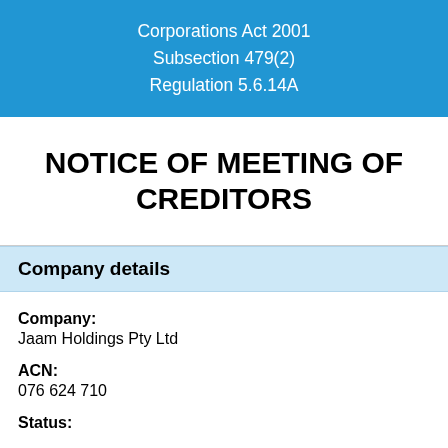Corporations Act 2001
Subsection 479(2)
Regulation 5.6.14A
NOTICE OF MEETING OF CREDITORS
Company details
Company:
Jaam Holdings Pty Ltd
ACN:
076 624 710
Status: